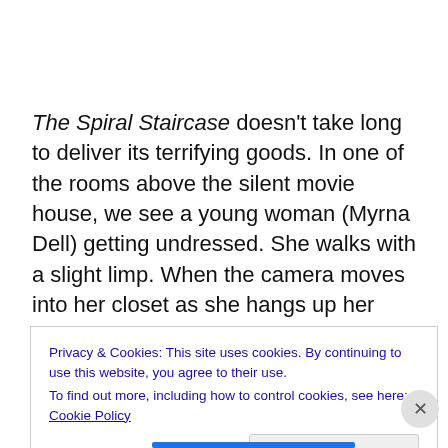The Spiral Staircase doesn't take long to deliver its terrifying goods. In one of the rooms above the silent movie house, we see a young woman (Myrna Dell) getting undressed. She walks with a slight limp. When the camera moves into her closet as she hangs up her dress, there is a pause, then the camera moves into the thicket of hanging clothes. They part slightly, and suddenly we see
Privacy & Cookies: This site uses cookies. By continuing to use this website, you agree to their use.
To find out more, including how to control cookies, see here: Cookie Policy